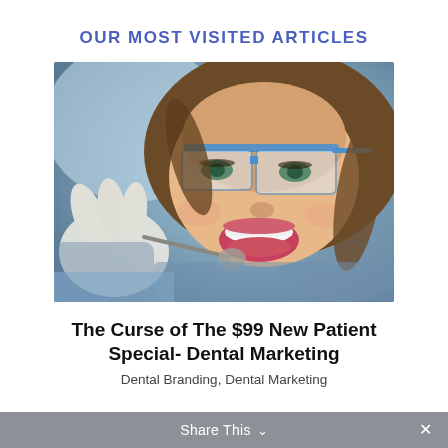OUR MOST VISITED ARTICLES
[Figure (photo): Young woman patient at dentist with mouth open, wearing protective blue-rimmed safety glasses, dentist's gloved hand holding dental mirror tool near her mouth]
The Curse of The $99 New Patient Special- Dental Marketing
Dental Branding,  Dental Marketing
Share This ∨  ✕